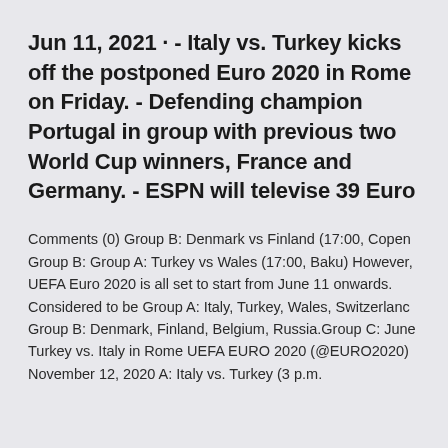Jun 11, 2021 · - Italy vs. Turkey kicks off the postponed Euro 2020 in Rome on Friday. - Defending champion Portugal in group with previous two World Cup winners, France and Germany. - ESPN will televise 39 Euro
Comments (0) Group B: Denmark vs Finland (17:00, Copen Group B: Group A: Turkey vs Wales (17:00, Baku) However, UEFA Euro 2020 is all set to start from June 11 onwards. Considered to be Group A: Italy, Turkey, Wales, Switzerland Group B: Denmark, Finland, Belgium, Russia.Group C: June Turkey vs. Italy in Rome UEFA EURO 2020 (@EURO2020) November 12, 2020 A: Italy vs. Turkey (3 p.m.